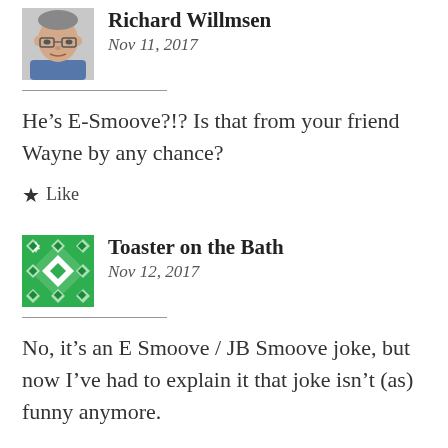[Figure (photo): Profile photo of Richard Willmsen, middle-aged man with glasses]
Richard Willmsen
Nov 11, 2017
He’s E-Smoove?!? Is that from your friend Wayne by any chance?
★ Like
[Figure (logo): Green geometric/quilt pattern avatar for Toaster on the Bath]
Toaster on the Bath
Nov 12, 2017
No, it’s an E Smoove / JB Smoove joke, but now I’ve had to explain it that joke isn’t (as) funny anymore.